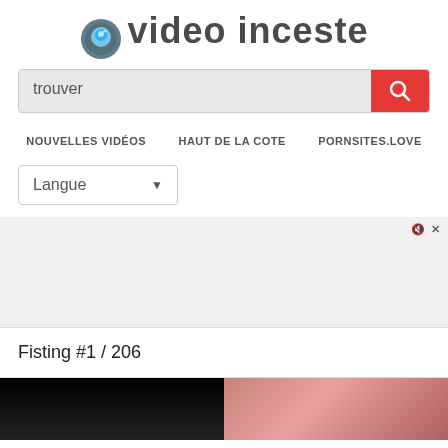video inceste
trouver
NOUVELLES VIDÉOS   HAUT DE LA COTE   PORNSITES.LOVE
Langue
[Figure (screenshot): Ad zone with mute and close controls]
Fisting #1 / 206
[Figure (photo): Two video thumbnails side by side — left: dark scene, right: pinkish/skin tones]